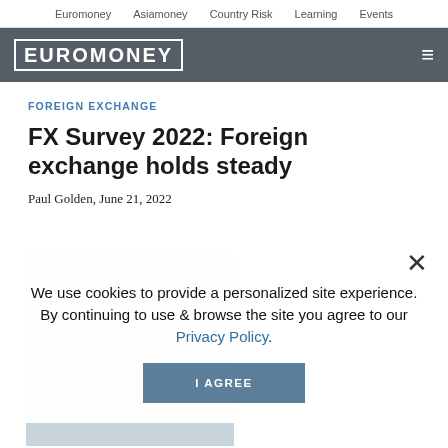Euromoney   Asiamoney   Country Risk   Learning   Events
[Figure (logo): Euromoney logo in white on dark grey background with hamburger menu icon]
FOREIGN EXCHANGE
FX Survey 2022: Foreign exchange holds steady
Paul Golden, June 21, 2022
[Figure (photo): Partially visible background image with overlay text including 'Lessons', 'comp...', 'to your', 'compe...' in white]
We use cookies to provide a personalized site experience.
By continuing to use & browse the site you agree to our Privacy Policy.
I AGREE